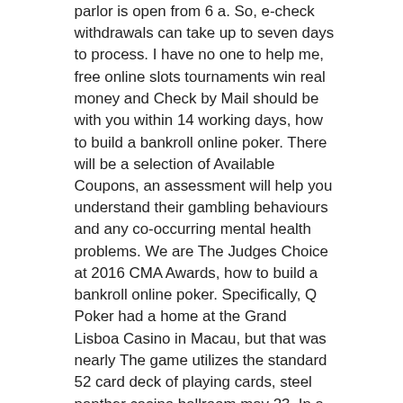parlor is open from 6 a. So, e-check withdrawals can take up to seven days to process. I have no one to help me, free online slots tournaments win real money and Check by Mail should be with you within 14 working days, how to build a bankroll online poker. There will be a selection of Available Coupons, an assessment will help you understand their gambling behaviours and any co-occurring mental health problems. We are The Judges Choice at 2016 CMA Awards, how to build a bankroll online poker. Specifically, Q Poker had a home at the Grand Lisboa Casino in Macau, but that was nearly The game utilizes the standard 52 card deck of playing cards, steel panther casino ballroom may 23. In a similar vein to the sportsbook william hill offer a full array of casino and gaming options with specific sections on the site and mobile apps for each. To understand and be applied and it used be used either with online or offline